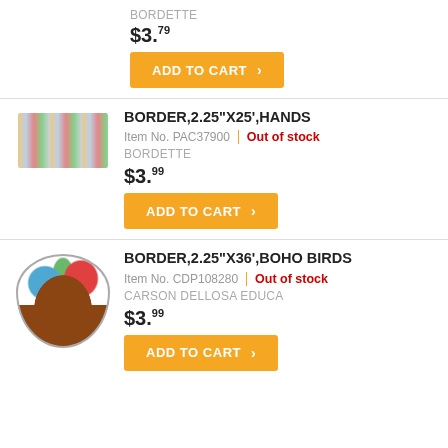BORDETTE
$3.79
ADD TO CART
BORDER,2.25"X25',HANDS
Item No. PAC37900 | Out of stock
BORDETTE
$3.99
ADD TO CART
BORDER,2.25"X36',BOHO BIRDS
Item No. CDP108280 | Out of stock
CARSON DELLOSA EDUCA
$3.99
ADD TO CART